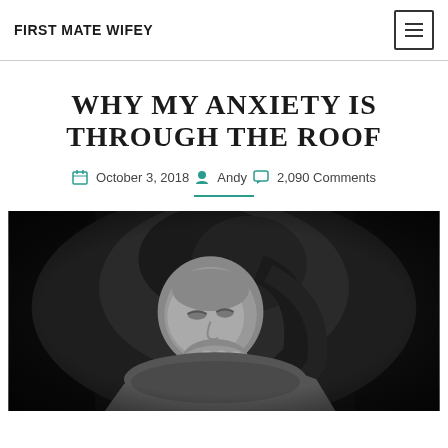FIRST MATE WIFEY
WHY MY ANXIETY IS THROUGH THE ROOF
October 3, 2018  Andy  2,090 Comments
[Figure (photo): Black and white photo of a woman with long hair looking down, hands near her face, wearing a knit sweater, appears pensive or anxious]